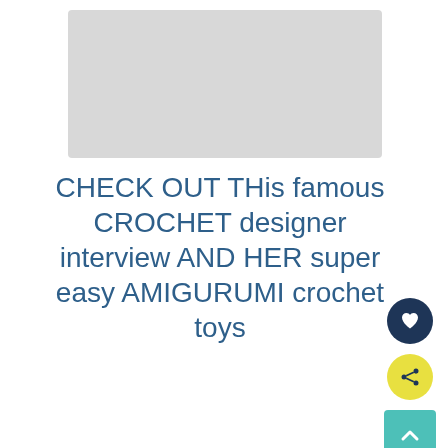[Figure (photo): Gray placeholder image rectangle at the top of the page]
CHECK OUT THis famous CROCHET designer interview AND HER super easy AMIGURUMI crochet toys
[Figure (infographic): UI buttons on right side: dark circle heart icon, yellow circle share icon, teal square up-arrow icon]